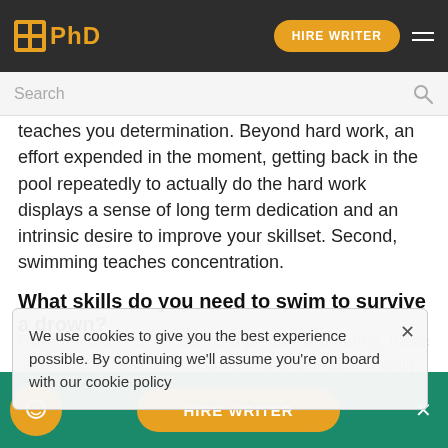PhD | HIRE WRITER
Search
teaches you determination. Beyond hard work, an effort expended in the moment, getting back in the pool repeatedly to actually do the hard work displays a sense of long term dedication and an intrinsic desire to improve your skillset. Second, swimming teaches concentration.
What skills do you need to swim to survive a drown?
Even if it may not be fast, competitive swimming, basic skills... if you are able to keep afloat without the ability to be resourceful and can float for a couple minutes you have the power to save your own life. Lifesaving is another crucial skill to have. When someone is close to
We use cookies to give you the best experience possible. By continuing we'll assume you're on board with our cookie policy
HIRE WRITER